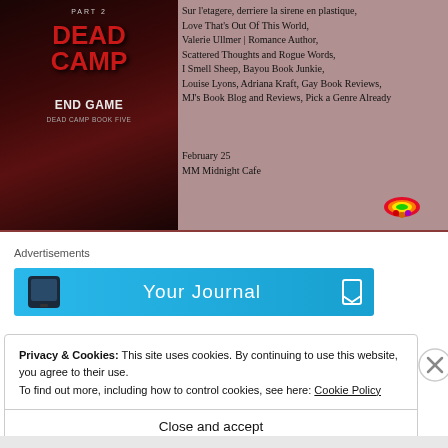[Figure (illustration): Book cover for 'Dead Camp End Game - Dead Camp Book Five, Part 2' with dark red and black horror styling, showing a figure in darkness]
Sur l'etagere, derriere la sirene en plastique, Love That's Out Of This World, Valerie Ullmer | Romance Author, Scattered Thoughts and Rogue Words, I Smell Sheep, Bayou Book Junkie, Louise Lyons, Adriana Kraft, Gay Book Reviews, MJ's Book Blog and Reviews, Pick a Genre Already
February 25
MM Midnight Cafe
Advertisements
[Figure (screenshot): Advertisement banner with blue background showing 'Your Journal' with a phone icon and bookmark icon]
Privacy & Cookies: This site uses cookies. By continuing to use this website, you agree to their use.
To find out more, including how to control cookies, see here: Cookie Policy
Close and accept